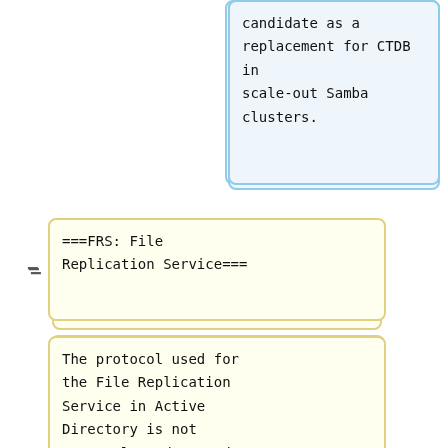candidate as a replacement for CTDB in scale-out Samba clusters.
===FRS: File Replication Service===
The protocol used for the File Replication Service in Active Directory is not currently understood.
This task involves the implementation and testing of a new ''dbwrap'' back-end that uses librados for the storage, retrieval and locking of Samba